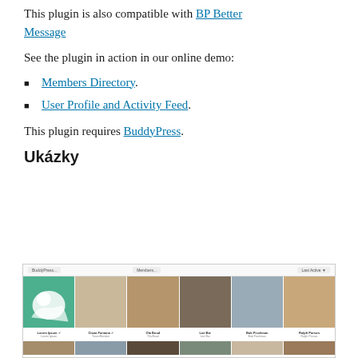This plugin is also compatible with BP Better Message
See the plugin in action in our online demo:
Members Directory.
User Profile and Activity Feed.
This plugin requires BuddyPress.
Ukázky
[Figure (screenshot): Screenshot of a members directory plugin showing a grid of user profile photos with names and roles underneath, two rows of six members each with a toolbar at the top]